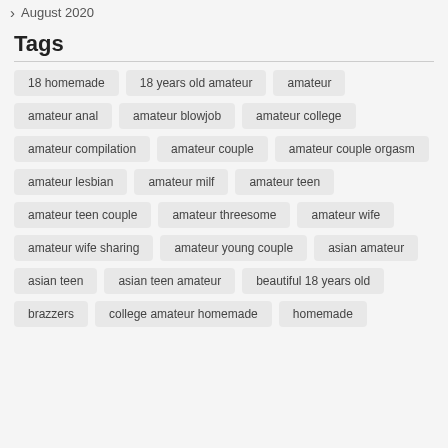August 2020
Tags
18 homemade
18 years old amateur
amateur
amateur anal
amateur blowjob
amateur college
amateur compilation
amateur couple
amateur couple orgasm
amateur lesbian
amateur milf
amateur teen
amateur teen couple
amateur threesome
amateur wife
amateur wife sharing
amateur young couple
asian amateur
asian teen
asian teen amateur
beautiful 18 years old
brazzers
college amateur homemade
homemade